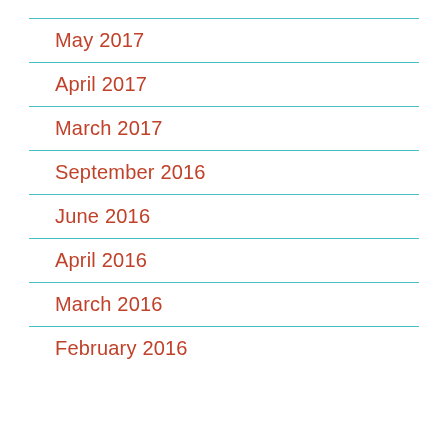May 2017
April 2017
March 2017
September 2016
June 2016
April 2016
March 2016
February 2016